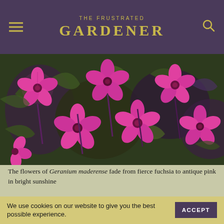THE FRUSTRATED GARDENER
[Figure (photo): Close-up photograph of Geranium maderense flowers — vivid fuchsia/magenta five-petaled flowers with dark veining and reddish-purple stems and dark green foliage.]
The flowers of Geranium maderense fade from fierce fuchsia to antique pink in bright sunshine
There is no question that Geranium maderense is the more glamorous and desirable of the sister species: the single flowers are fuller, more robust, brighter pink and produced in
We use cookies on our website to give you the best possible experience.